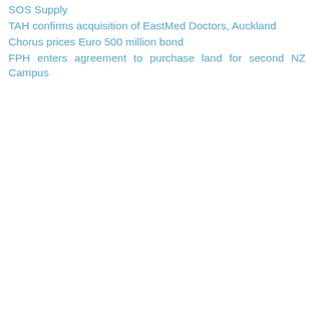SOS Supply
TAH confirms acquisition of EastMed Doctors, Auckland
Chorus prices Euro 500 million bond
FPH enters agreement to purchase land for second NZ Campus